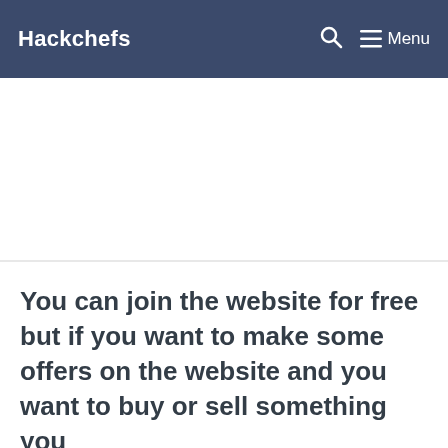Hackchefs  Menu
[Figure (other): Large blank white advertisement/content area placeholder]
You can join the website for free but if you want to make some offers on the website and you want to buy or sell something you